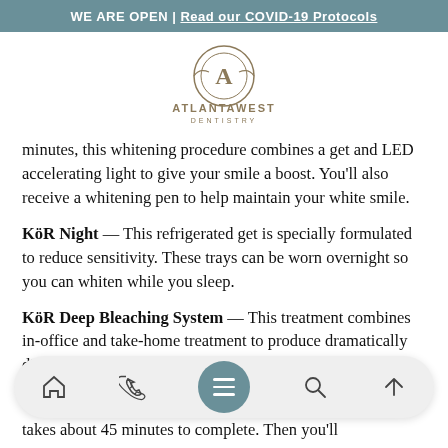WE ARE OPEN | Read our COVID-19 Protocols
[Figure (logo): Atlanta West Dentistry logo — circular emblem with letter A above text ATLANTAWEST DENTISTRY]
minutes, this whitening procedure combines a get and LED accelerating light to give your smile a boost. You'll also receive a whitening pen to help maintain your white smile.
KöR Night — This refrigerated get is specially formulated to reduce sensitivity. These trays can be worn overnight so you can whiten while you sleep.
KöR Deep Bleaching System — This treatment combines in-office and take-home treatment to produce dramatically different smiles. Patients have
takes about 45 minutes to complete. Then you'll